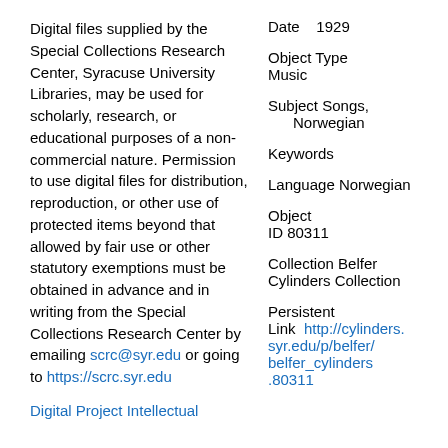Digital files supplied by the Special Collections Research Center, Syracuse University Libraries, may be used for scholarly, research, or educational purposes of a non-commercial nature. Permission to use digital files for distribution, reproduction, or other use of protected items beyond that allowed by fair use or other statutory exemptions must be obtained in advance and in writing from the Special Collections Research Center by emailing scrc@syr.edu or going to https://scrc.syr.edu
Digital Project Intellectual
Date    1929
Object Type    Music
Subject    Songs, Norwegian
Keywords
Language    Norwegian
Object ID    80311
Collection    Belfer Cylinders Collection
Persistent Link    http://cylinders.syr.edu/p/belfer/belfer_cylinders.80311